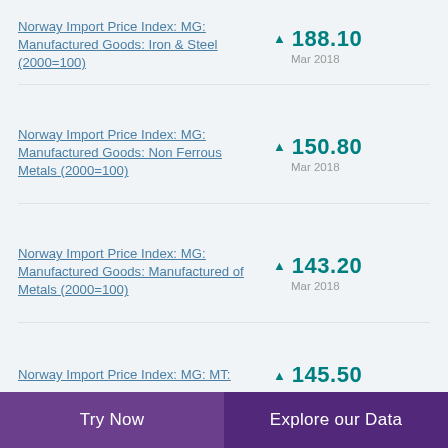Norway Import Price Index: MG: Manufactured Goods: Iron & Steel (2000=100)
▲ 188.10 Mar 2018
Norway Import Price Index: MG: Manufactured Goods: Non Ferrous Metals (2000=100)
▲ 150.80 Mar 2018
Norway Import Price Index: MG: Manufactured Goods: Manufactured of Metals (2000=100)
▲ 143.20 Mar 2018
Norway Import Price Index: MG: MT:
▲ 145.50
Try Now    Explore our Data